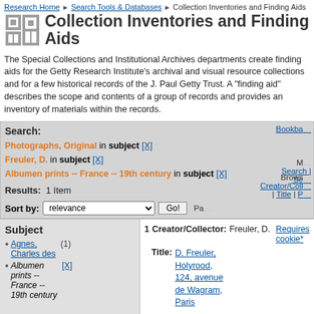Research Home > Search Tools & Databases > Collection Inventories and Finding Aids
Collection Inventories and Finding Aids
The Special Collections and Institutional Archives departments create finding aids for the Getty Research Institute's archival and visual resource collections and for a few historical records of the J. Paul Getty Trust. A "finding aid" describes the scope and contents of a group of records and provides an inventory of materials within the records.
Search:
Photographs, Original in subject [X]
Freuler, D. in subject [X]
Albumen prints -- France -- 19th century in subject [X]
Results: 1 Item
Sort by: relevance  Go!
Subject
Agnes, Charles des (1)
Albumen prints -- France -- 19th century [X]
| # | Field | Value |
| --- | --- | --- |
| 1 | Creator/Collector: | Freuler, D. |
|  | Title: | D. Freuler, Holyrood, 124, avenue de Wagram, Paris |